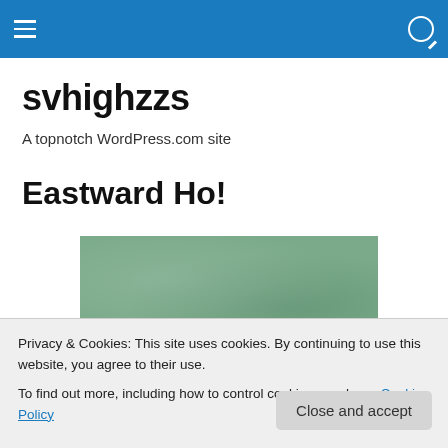svhighzzs navigation bar
svhighzzs
A topnotch WordPress.com site
Eastward Ho!
[Figure (photo): Green textured rectangular image, likely a photograph of a green surface or board.]
Privacy & Cookies: This site uses cookies. By continuing to use this website, you agree to their use.
To find out more, including how to control cookies, see here: Cookie Policy
Close and accept